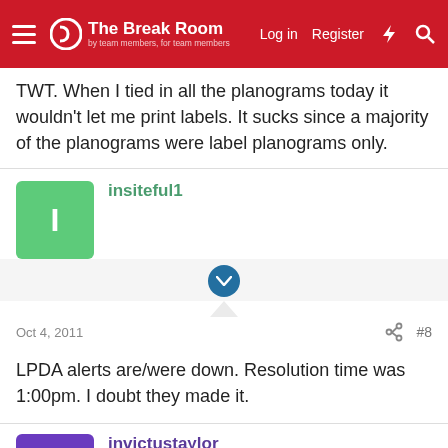The Break Room — Log in | Register
TWT. When I tied in all the planograms today it wouldn't let me print labels. It sucks since a majority of the planograms were label planograms only.
insiteful1
Oct 4, 2011  #8
LPDA alerts are/were down. Resolution time was 1:00pm. I doubt they made it.
invictustaylor
Oct 4, 2011  #9